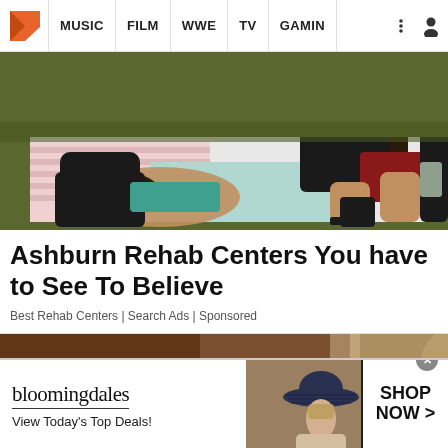MUSIC | FILM | WWE | TV | GAMING
[Figure (photo): People lying on blankets outdoors on grass, with bags and a wine bottle visible]
Ashburn Rehab Centers You have to See To Believe
Best Rehab Centers | Search Ads | Sponsored
[Figure (photo): Partial photo of a person, bottom portion of article image]
[Figure (infographic): Bloomingdale's advertisement banner: bloomingdales / View Today's Top Deals! / SHOP NOW >]